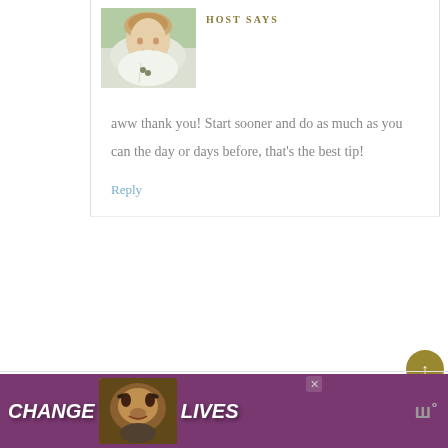[Figure (photo): Photo of a woman with short blonde hair wearing a white top and necklace, smiling, outdoors with greenery in background]
HOST SAYS
aww thank you! Start sooner and do as much as you can the day or days before, that’s the best tip!
Reply
[Figure (photo): Advertisement banner: purple background with cat illustration and text CHANGE LIVES]
Power Washing Tips